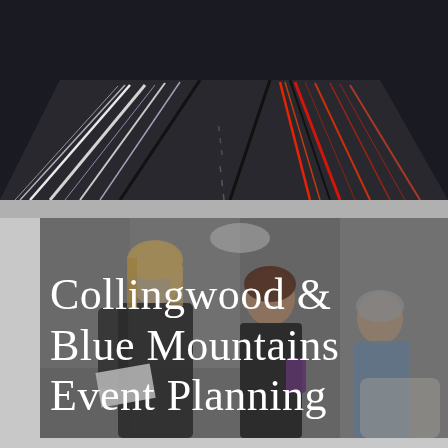[Figure (photo): Aerial night view of a highway with light trails from vehicles — white lights on one side, red taillights on the other]
[Figure (photo): Three women in a modern office/studio space looking at documents together — event planning meeting scene]
Collingwood & Blue Mountains Event Planning